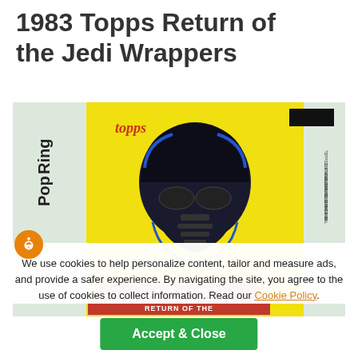1983 Topps Return of the Jedi Wrappers
[Figure (photo): 1983 Topps Return of the Jedi trading card wrapper showing a yellow background with Darth Vader illustration, Topps logo, Star Wars Return of the Jedi banner, Ring Pop advertisement on the left side, and product information text on the right side.]
We use cookies to help personalize content, tailor and measure ads, and provide a safer experience. By navigating the site, you agree to the use of cookies to collect information. Read our Cookie Policy.
Accept & Close